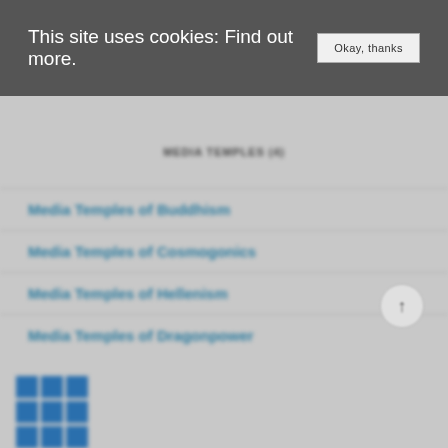This site uses cookies: Find out more.
Okay, thanks
MEDIA TEMPLES (4)
Media Temples of Buddhism
Media Temples of Cosmogonics
Media Temples of Hellenism
Media Temples of Dragonpower
[Figure (logo): Grid of blue squares logo in bottom left corner]